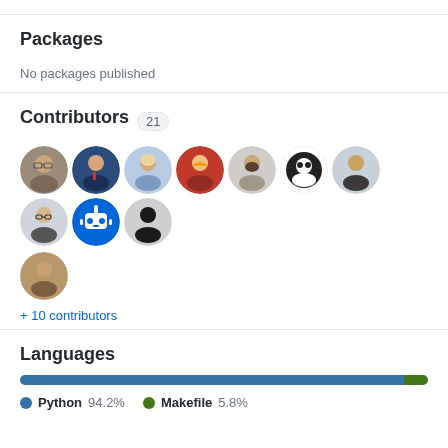Packages
No packages published
Contributors 21
[Figure (illustration): Grid of 11 contributor avatar photos/icons in circular frames, showing various people and one bot icon]
+ 10 contributors
Languages
[Figure (bar-chart): Languages]
Python 94.2%  Makefile 5.8%